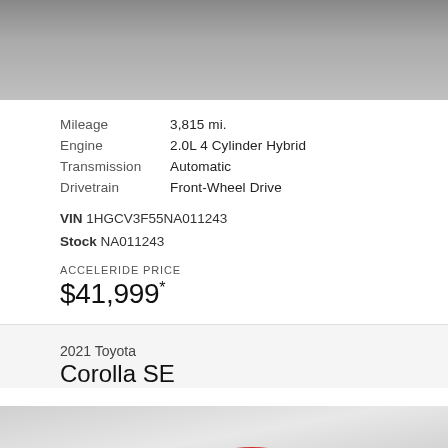[Figure (photo): Top portion of a car photo, showing the lower part of the vehicle on a tiled gray surface, black and white/grayscale.]
| Mileage | 3,815 mi. |
| Engine | 2.0L 4 Cylinder Hybrid |
| Transmission | Automatic |
| Drivetrain | Front-Wheel Drive |
VIN 1HGCV3F55NA011243
Stock NA011243
ACCELERIDE PRICE
$41,999*
2021 Toyota
Corolla SE
[Figure (photo): Bottom portion showing a red Toyota Corolla SE car on a gradient gray background, with a blue 'NEED HELP?' chat button overlay in the bottom right.]